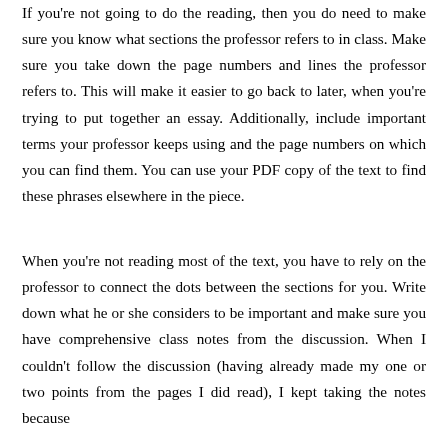If you're not going to do the reading, then you do need to make sure you know what sections the professor refers to in class. Make sure you take down the page numbers and lines the professor refers to. This will make it easier to go back to later, when you're trying to put together an essay. Additionally, include important terms your professor keeps using and the page numbers on which you can find them. You can use your PDF copy of the text to find these phrases elsewhere in the piece.
When you're not reading most of the text, you have to rely on the professor to connect the dots between the sections for you. Write down what he or she considers to be important and make sure you have comprehensive class notes from the discussion. When I couldn't follow the discussion (having already made my one or two points from the pages I did read), I kept taking the notes because